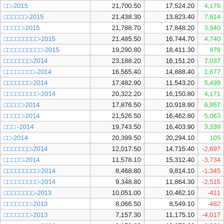|  | Col1 | Col2 | Diff |
| --- | --- | --- | --- |
| □□-2015 | 21,700.50 | 17,524.20 | 4,176 |
| □□□□□□-2015 | 21,438.30 | 13,823.40 | 7,614 |
| □□□□□-2015 | 21,788.70 | 17,848.20 | 3,940 |
| □□□□□□□□□-2015 | 21,485.50 | 16,744.70 | 4,740 |
| □□□□□□□□□□-2015 | 19,290.80 | 18,411.30 | 879 |
| □□□□□□□-2014 | 23,188.20 | 16,151.20 | 7,037 |
| □□□□□□□□-2014 | 16,565.40 | 14,888.40 | 1,677 |
| □□□□□□□-2014 | 17,482.90 | 11,543.20 | 5,499 |
| □□□□□□□□□-2014 | 20,322.20 | 16,150.80 | 4,171 |
| □□□□□-2014 | 17,876.50 | 10,918.90 | 6,957 |
| □□□□□-2014 | 21,526.50 | 16,462.80 | 5,063 |
| □□□ -2014 | 19,743.50 | 16,403.90 | 3,339 |
| □□-2014 | 20,399.50 | 20,294.10 | 105 |
| □□□□□□□-2014 | 12,017.50 | 14,715.40 | -2,697 |
| □□□□□-2014 | 11,578.10 | 15,312.40 | -3,734 |
| □□□□□□□□□-2014 | 8,468.80 | 9,814.10 | -1,345 |
| □□□□□□□□□-2014 | 9,348.80 | 11,864.30 | -2,515 |
| □□□□□□□□-2013 | 10,051.00 | 10,462.10 | -411 |
| □□□□□□□-2013 | 8,066.50 | 8,549.10 | -482 |
| □□□□□□□-2013 | 7,157.30 | 11,175.10 | -4,017 |
| □□□□□□□□□-2013 | 8,172.80 | 10,973.60 | -2,800 |
| □□□□□-2013 | 13,109.00 | 11,502.10 | 1,606 |
| □□□ -2013 | 9,582.30 | 9,851.10 | -268 |
| □□-2013 | 9,067.30 | 12,575.30 | -3,508 |